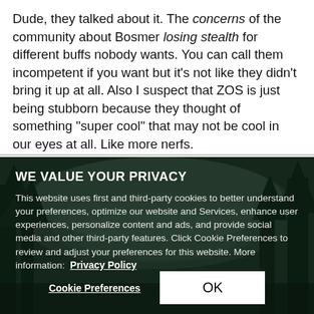Dude, they talked about it. The concerns of the community about Bosmer losing stealth for different buffs nobody wants. You can call them incompetent if you want but it's not like they didn't bring it up at all. Also I suspect that ZOS is just being stubborn because they thought of something "super cool" that may not be cool in our eyes at all. Like more nerfs.
[Figure (photo): Dark fantasy forest background image with trees and foggy atmosphere, used as background for a cookie consent overlay]
WE VALUE YOUR PRIVACY
This website uses first and third-party cookies to better understand your preferences, optimize our website and Services, enhance user experiences, personalize content and ads, and provide social media and other third-party features. Click Cookie Preferences to review and adjust your preferences for this website. More information:  Privacy Policy